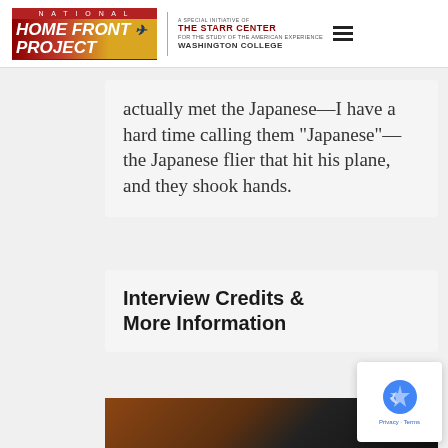National Home Front Project — Collecting Memories of World War II | The Starr Center for the Study of the American Experience, Washington College
actually met the Japanese—I have a hard time calling them “Japanese”—the Japanese flier that hit his plane, and they shook hands.
Interview Credits & More Information
[Figure (photo): Partial view of a video thumbnail or image strip at the bottom of the page, dark brownish tones]